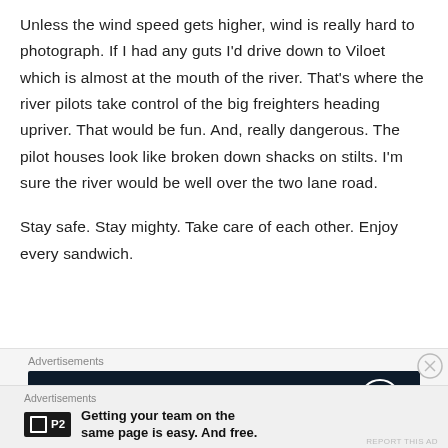Unless the wind speed gets higher, wind is really hard to photograph. If I had any guts I'd drive down to Viloet which is almost at the mouth of the river. That's where the river pilots take control of the big freighters heading upriver. That would be fun. And, really dangerous. The pilot houses look like broken down shacks on stilts. I'm sure the river would be well over the two lane road.
Stay safe. Stay mighty. Take care of each other. Enjoy every sandwich.
Advertisements
[Figure (other): Dark navy blue advertisement banner with WordPress logo (circle W) on right side]
Advertisements
Getting your team on the same page is easy. And free.